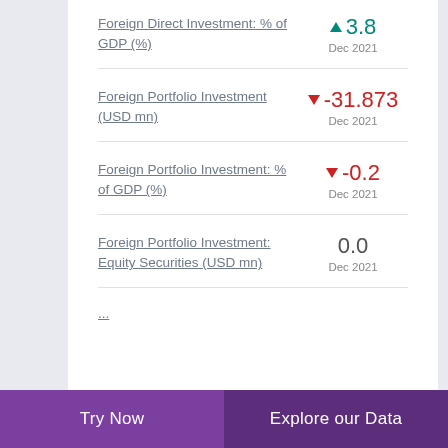Foreign Direct Investment: % of GDP (%)
Foreign Portfolio Investment (USD mn)
Foreign Portfolio Investment: % of GDP (%)
Foreign Portfolio Investment: Equity Securities (USD mn)
Try Now | Explore our Data